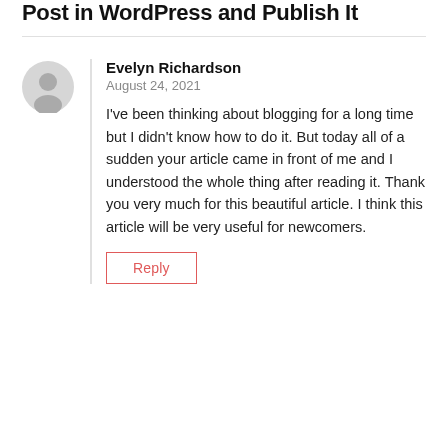Post in WordPress and Publish It
Evelyn Richardson
August 24, 2021
I've been thinking about blogging for a long time but I didn't know how to do it. But today all of a sudden your article came in front of me and I understood the whole thing after reading it. Thank you very much for this beautiful article. I think this article will be very useful for newcomers.
Reply